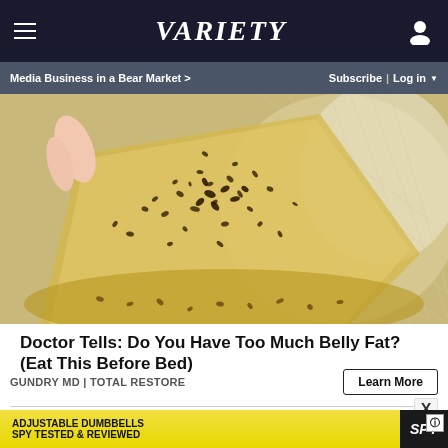VARIETY — Media Business in a Bear Market > | Subscribe | Log in
[Figure (photo): Close-up photo of a hand peeling back a golden translucent sheet covered with dark seeds/speckles, over a bowl of similar granular material]
Doctor Tells: Do You Have Too Much Belly Fat? (Eat This Before Bed)
GUNDRY MD | TOTAL RESTORE
[Figure (advertisement): Advertisement banner: ADJUSTABLE DUMBBELLS SPY TESTED & REVIEWED with SPY logo on yellow/black background]